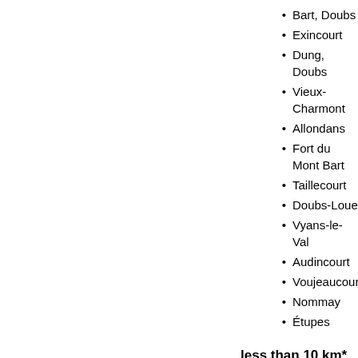Bart, Doubs
Exincourt
Dung, Doubs
Vieux-Charmont
Allondans
Fort du Mont Bart
Taillecourt
Doubs-Loue
Vyans-le-Val
Audincourt
Voujeaucourt
Nommay
Étupes
less than 10 km*
Présentevillers
Brognard
Issans
Valentigney
Berche
Bavans
Belfort Gap
Dambenois
Dampierre-sur-le-Doubs
Raynans